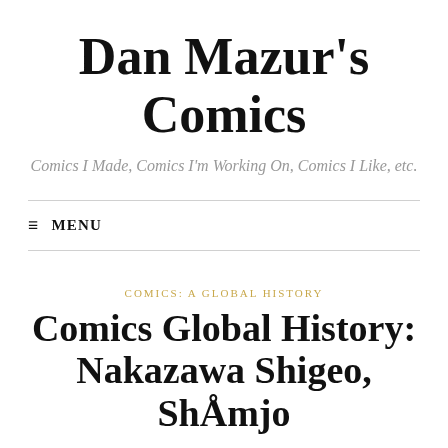Dan Mazur's Comics
Comics I Made, Comics I'm Working On, Comics I Like, etc.
≡ MENU
COMICS: A GLOBAL HISTORY
Comics Global History: Nakazawa Shigeo, ShÅjo